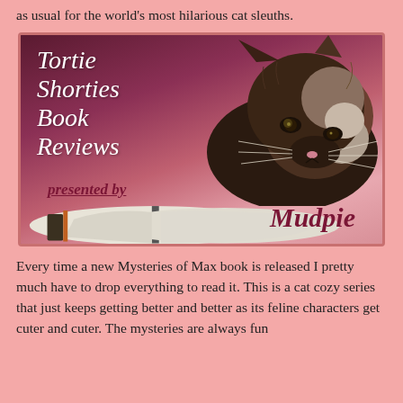as usual for the world's most hilarious cat sleuths.
[Figure (illustration): Tortie Shorties Book Reviews presented by Mudpie — promotional graphic featuring a tortoiseshell cat resting on an open book, with text overlay on a pink/mauve gradient background.]
Every time a new Mysteries of Max book is released I pretty much have to drop everything to read it. This is a cat cozy series that just keeps getting better and better as its feline characters get cuter and cuter. The mysteries are always fun